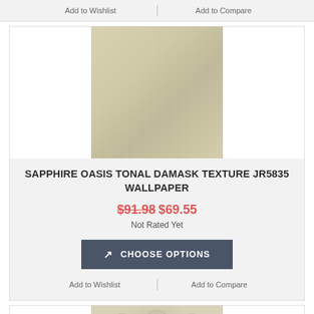Add to Wishlist   Add to Compare
[Figure (photo): Solid light beige/tan textured wallpaper swatch with subtle vertical streaking]
SAPPHIRE OASIS TONAL DAMASK TEXTURE JR5835 Wallpaper
$91.98 $69.55
Not Rated Yet
CHOOSE OPTIONS
Add to Wishlist   Add to Compare
[Figure (photo): Damask patterned wallpaper swatch in cream/beige tones with floral/scroll motifs]